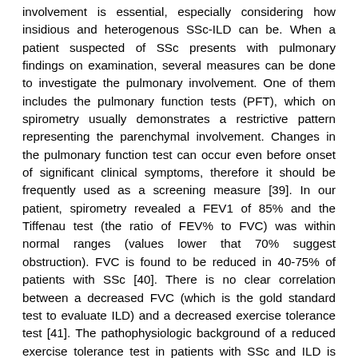involvement is essential, especially considering how insidious and heterogenous SSc-ILD can be. When a patient suspected of SSc presents with pulmonary findings on examination, several measures can be done to investigate the pulmonary involvement. One of them includes the pulmonary function tests (PFT), which on spirometry usually demonstrates a restrictive pattern representing the parenchymal involvement. Changes in the pulmonary function test can occur even before onset of significant clinical symptoms, therefore it should be frequently used as a screening measure [39]. In our patient, spirometry revealed a FEV1 of 85% and the Tiffenau test (the ratio of FEV% to FVC) was within normal ranges (values lower that 70% suggest obstruction). FVC is found to be reduced in 40-75% of patients with SSc [40]. There is no clear correlation between a decreased FVC (which is the gold standard test to evaluate ILD) and a decreased exercise tolerance test [41]. The pathophysiologic background of a reduced exercise tolerance test in patients with SSc and ILD is thought to be multifactorial, with a constellation of variables such as reduced oxygen diffusion across the alveolar membrane, vasodilatory failure in response to exercise [49] and